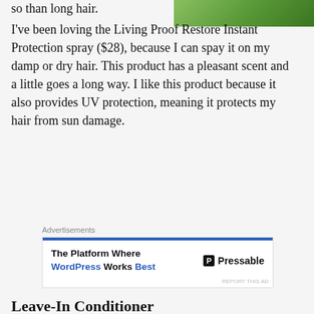[Figure (photo): Top-right corner of a photo showing green foliage/leaves background]
I've been loving the Living Proof Restore Instant Protection spray ($28), because I can spay it on my damp or dry hair. This product has a pleasant scent and a little goes a long way. I like this product because it also provides UV protection, meaning it protects my hair from sun damage.
Advertisements
[Figure (screenshot): Advertisement for Pressable: 'The Platform Where WordPress Works Best' with Pressable logo]
Leave-In Conditioner
[Figure (photo): Partial view of a product image with blue background]
All hair needs
Advertisements
[Figure (screenshot): Advertisement: 'Launch your online course with WordPress' with Learn More button]